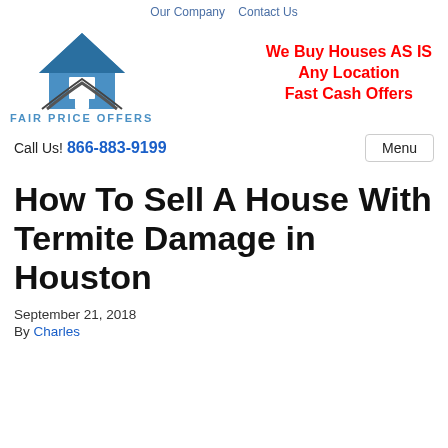Our Company   Contact Us
[Figure (logo): Fair Price Offers logo — blue house icon above the text FAIR PRICE OFFERS in blue letters]
We Buy Houses AS IS
Any Location
Fast Cash Offers
Call Us! 866-883-9199
Menu
How To Sell A House With Termite Damage in Houston
September 21, 2018
By Charles